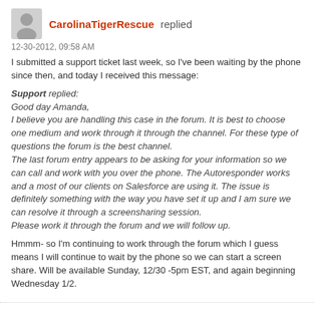CarolinaTigerRescue replied
12-30-2012, 09:58 AM
I submitted a support ticket last week, so I've been waiting by the phone since then, and today I received this message:
Support replied:
Good day Amanda,
I believe you are handling this case in the forum. It is best to choose one medium and work through it through the channel. For these type of questions the forum is the best channel.
The last forum entry appears to be asking for your information so we can call and work with you over the phone. The Autoresponder works and a most of our clients on Salesforce are using it. The issue is definitely something with the way you have set it up and I am sure we can resolve it through a screensharing session.
Please work it through the forum and we will follow up.
Hmmm- so I'm continuing to work through the forum which I guess means I will continue to wait by the phone so we can start a screen share. Will be available Sunday, 12/30 -5pm EST, and again beginning Wednesday 1/2.
CnP.Support replied
12-27-2012, 09:45 AM
Good day!